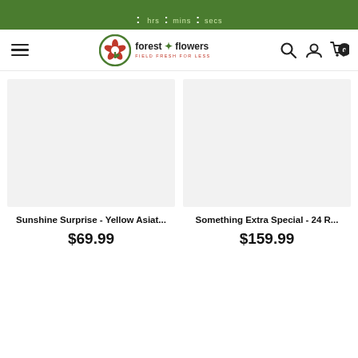hrs  mins  secs  (countdown timer bar)
[Figure (logo): Forest of Flowers logo with green circular emblem containing a red flower/tulip, text 'forest of flowers' and tagline 'FIELD FRESH FOR LESS']
Sunshine Surprise - Yellow Asiat...
$69.99
Something Extra Special - 24 R...
$159.99